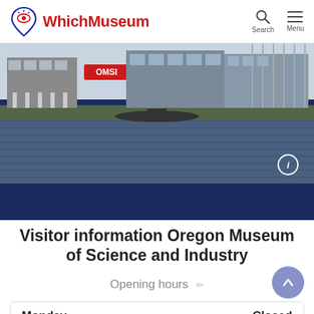WhichMuseum — Search, Menu
[Figure (photo): Outdoor photograph of the Oregon Museum of Science and Industry viewed across a river, with buildings visible and a submarine docked in the water. The background shows a dark navy blue band below the photo.]
Visitor information Oregon Museum of Science and Industry
Opening hours
| Monday | Closed |
| --- | --- |